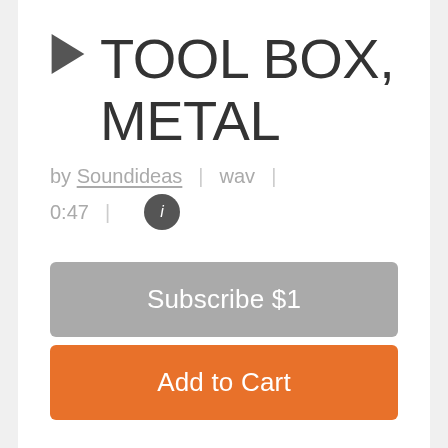TOOL BOX, METAL
by Soundideas  |  wav  |
0:47  |  ℹ
Subscribe $1
Add to Cart